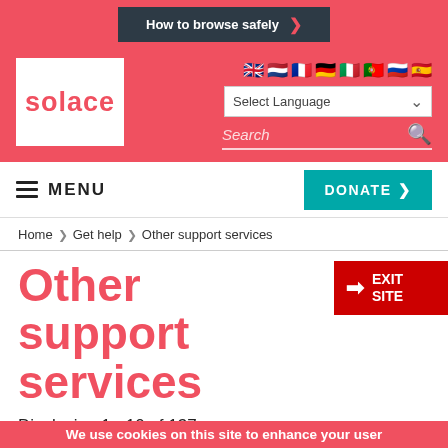How to browse safely
[Figure (logo): Solace logo - white box with red 'solace' text]
Select Language
Search
MENU
DONATE
Home > Get help > Other support services
Other support services
EXIT SITE
Displaying 1 - 10 of 137
Enter your keyword(s)
We use cookies on this site to enhance your user